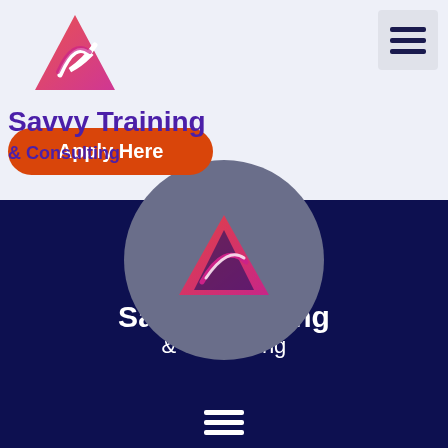[Figure (logo): Savvy Training & Consulting logo top-left with triangular icon in red/pink/purple gradient]
Savvy Training
& Consulting
Apply Here
[Figure (logo): Savvy Training & Consulting logo centered on dark navy background with triangular icon]
Savvy Training & Consulting